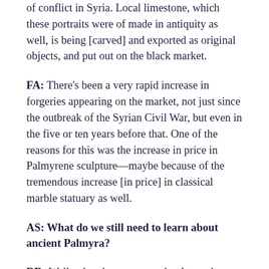of conflict in Syria. Local limestone, which these portraits were of made in antiquity as well, is being [carved] and exported as original objects, and put out on the black market.
FA: There's been a very rapid increase in forgeries appearing on the market, not just since the outbreak of the Syrian Civil War, but even in the five or ten years before that. One of the reasons for this was the increase in price in Palmyrene sculpture—maybe because of the tremendous increase [in price] in classical marble statuary as well.
AS: What do we still need to learn about ancient Palmyra?
RR: Well, what do we not need to learn about ancient Palmyra? We know a lot about Palmyra; we have a lot of epigraphic material, we have a lot of material culture, but